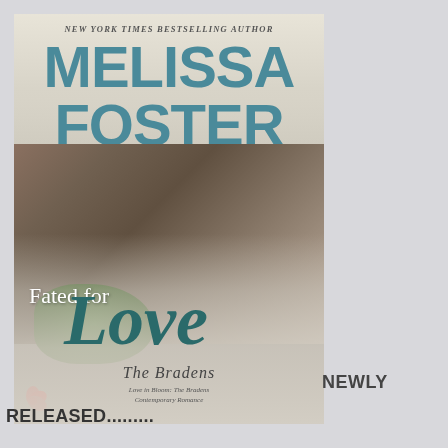[Figure (illustration): Book cover for 'Fated for Love' by Melissa Foster. Features the text 'NEW YORK TIMES BESTSELLING AUTHOR' at the top, the author name 'MELISSA FOSTER' in large teal block letters, a romantic couple photo of a man and woman kissing on a beach, the book title 'Fated for Love' in mixed fonts with 'Love' in large teal script, and 'The Bradens' subtitle with 'Love in Bloom: The Bradens Contemporary Romance' below.]
NEWLY RELEASED.........